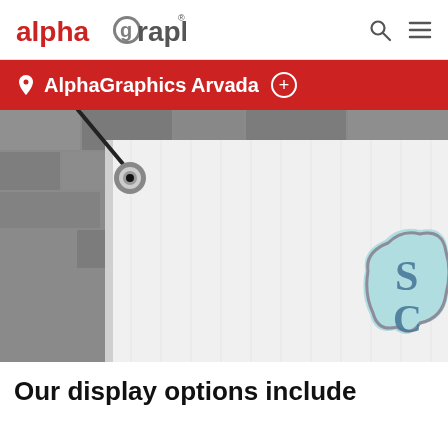alphagraphics
AlphaGraphics Arvada
[Figure (photo): Close-up photo of a white vinyl banner with a metal grommet and black cord, hanging against a stone wall background. The right side of the banner shows a partial decorative teal and gray logo/sign design.]
Our display options include